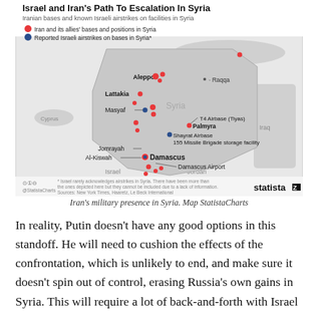[Figure (map): Map of Syria showing Iranian bases and known Israeli airstrikes. Red dots mark Iran and its allies' bases and positions in Syria. Blue dots mark reported Israeli airstrikes on bases in Syria. Labeled locations include Aleppo, Lattakia, Masyaf, Jomrayah, Al-Kiswah, Damascus, Damascus Airport, T4 Airbase (Tiyas), Palmyra, Shayrat Airbase, 155 Missile Brigade storage facility, Raqqa. Surrounding countries/regions labeled: Turkey, Cyprus, Lebanon, Israel, Jordan, Iraq, Syria. Footnote: * Israel rarely acknowledges airstrikes in Syria. There have been more than the ones depicted here but they cannot be included due to a lack of information. Sources: New York Times, Haaretz, Le Beck International. Statista logo bottom right.]
Iran's military presence in Syria. Map StatistaCharts
In reality, Putin doesn't have any good options in this standoff. He will need to cushion the effects of the confrontation, which is unlikely to end, and make sure it doesn't spin out of control, erasing Russia's own gains in Syria. This will require a lot of back-and-forth with Israel and Iran, pulling off a balancing act to accommodate the fears and interests of both countries.